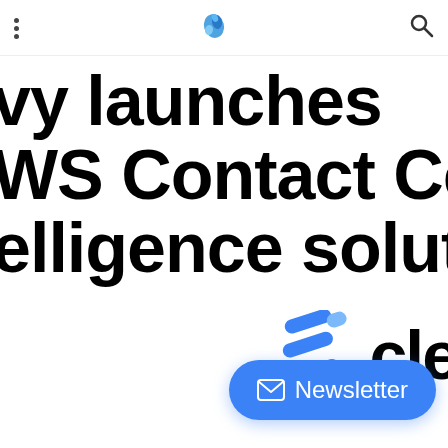⋮ [bird icon] 🔍
vy launches
WS Contact Center
elligence solution
[Figure (logo): Clevy logo — stylized blue layered S-shape icon with text 'cle' partially visible]
[Figure (infographic): Blue pill-shaped Newsletter button with envelope icon]